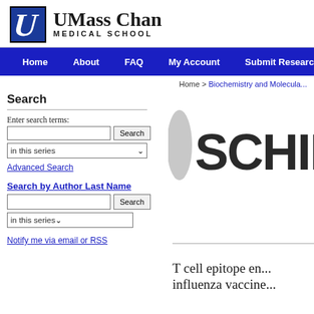[Figure (logo): UMass Chan Medical School logo with icon and text]
Home   About   FAQ   My Account   Submit Research
Home > Biochemistry and Molecula...
Search
Enter search terms:
in this series
Advanced Search
Search by Author Last Name
in this series
Notify me via email or RSS
[Figure (logo): Partial SCHIFF logo/image on the right side]
T cell epitope en... influenza vaccine...